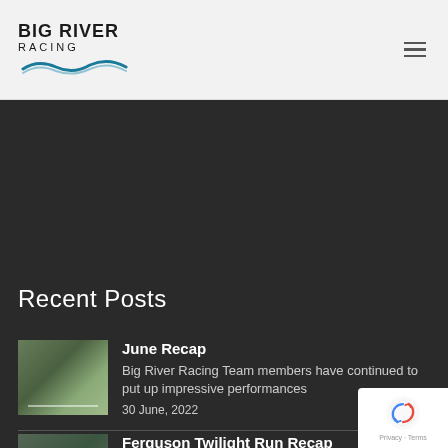BIG RIVER RACING
Recent Posts
June Recap
Big River Racing Team members have continued to put up impressive performances
30 June, 2022
Ferguson Twilight Run Recap
The Big River Racing Team had some strong showings at the F...